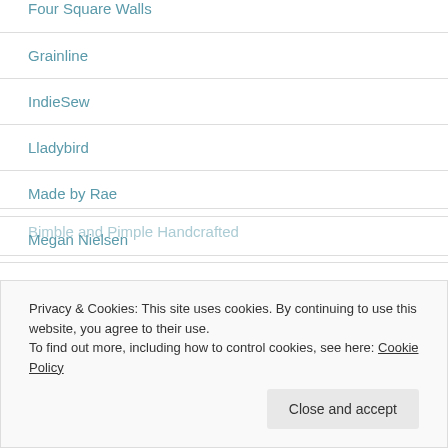Four Square Walls
Grainline
IndieSew
Lladybird
Made by Rae
Megan Nielsen
Miss Make
Privacy & Cookies: This site uses cookies. By continuing to use this website, you agree to their use.
To find out more, including how to control cookies, see here: Cookie Policy
Bimble and Pimple Handcrafted